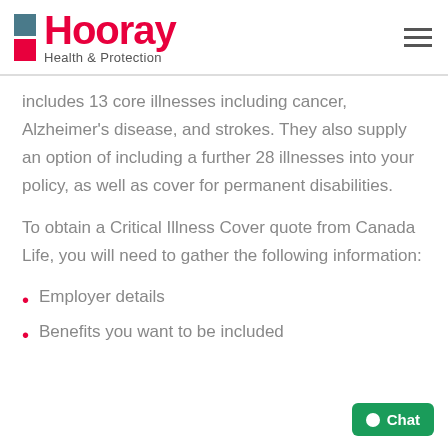Hooray Health & Protection
includes 13 core illnesses including cancer, Alzheimer's disease, and strokes. They also supply an option of including a further 28 illnesses into your policy, as well as cover for permanent disabilities.
To obtain a Critical Illness Cover quote from Canada Life, you will need to gather the following information:
Employer details
Benefits you want to be included